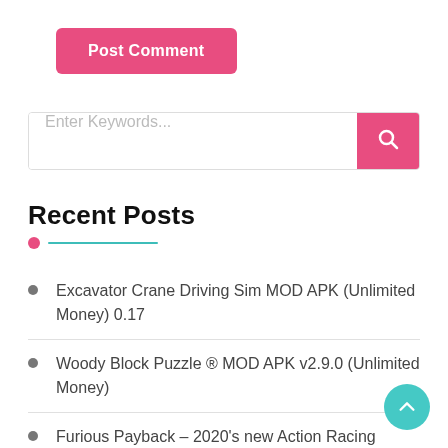[Figure (screenshot): Pink 'Post Comment' button]
[Figure (screenshot): Search bar with 'Enter Keywords...' placeholder and pink search button]
Recent Posts
Excavator Crane Driving Sim MOD APK (Unlimited Money) 0.17
Woody Block Puzzle ® MOD APK v2.9.0 (Unlimited Money)
Furious Payback – 2020's new Action Racing Game MOD APK vG.0 (Unlimited Money)